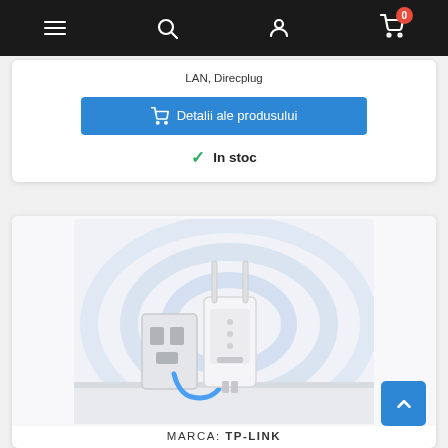Navigation bar with menu, search, account, and cart (0 items) icons
LAN, Direcplug
Detalii ale produsului
✓ In stoc
[Figure (photo): A TP-Link Wi-Fi range extender plugged into a wall outlet, with blue cable connected and WiFi signal waves illustrated around it]
MARCA: TP-LINK